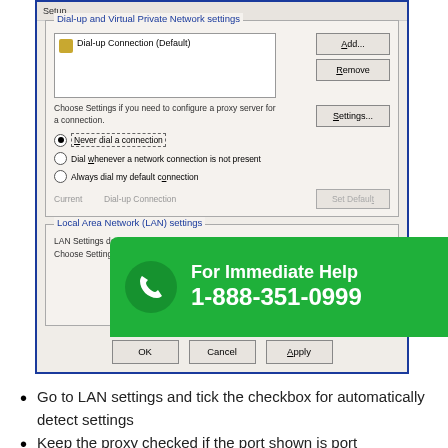[Figure (screenshot): Windows Internet Options dialog showing Dial-up and Virtual Private Network settings section with 'Dial-up Connection (Default)' listed, Add/Remove/Settings buttons, radio buttons for dial connection options with 'Never dial a connection' selected, Current/Set Default row, and Local Area Network (LAN) settings section partially visible. A green promotional banner overlays the bottom portion showing 'For Immediate Help 1-888-351-0999' with a phone icon.]
Go to LAN settings and tick the checkbox for automatically detect settings
Keep the proxy checked if the port shown is port